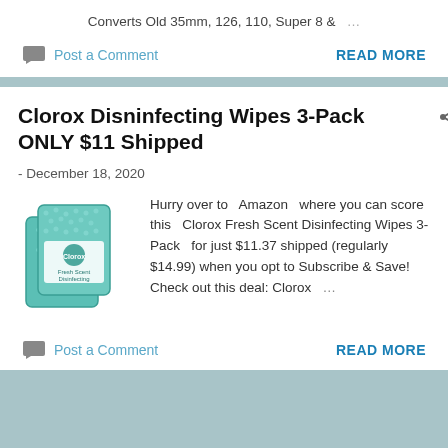Converts Old 35mm, 126, 110, Super 8 & …
Post a Comment
READ MORE
Clorox Disninfecting Wipes 3-Pack ONLY $11 Shipped
- December 18, 2020
[Figure (photo): Clorox Fresh Scent Disinfecting Wipes 3-Pack product image showing three green teal packages]
Hurry over to  Amazon  where you can score this  Clorox Fresh Scent Disinfecting Wipes 3-Pack  for just $11.37 shipped (regularly $14.99) when you opt to Subscribe & Save! Check out this deal: Clorox  …
Post a Comment
READ MORE